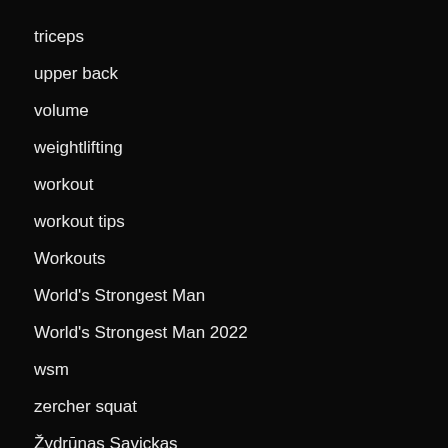triceps
upper back
volume
weightlifting
workout
workout tips
Workouts
World's Strongest Man
World's Strongest Man 2022
wsm
zercher squat
Žydrūnas Savickas